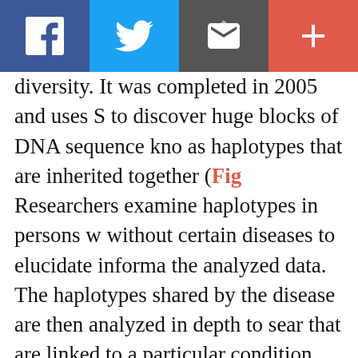[Figure (other): Social media share toolbar with four buttons: Facebook (blue), Twitter (light blue), Email/envelope (dark gray), Plus/more (red-orange)]
diversity. It was completed in 2005 and uses S to discover huge blocks of DNA sequence kno as haplotypes that are inherited together (Fig Researchers examine haplotypes in persons w without certain diseases to elucidate informa the analyzed data. The haplotypes shared by the disease are then analyzed in depth to sear that are linked to a particular condition. Scie already used the data in order to find a gene b related macular degeneration, a condition th blindness in elderly patients.⁹ The Internatio Consortium is predicted to play a significant r many more disease-related genes in the futu
In a small number of DNA samples, the HGP,⁴⁹ Consortium⁵⁰ and the International HapMap found over 10 million common DNA variation